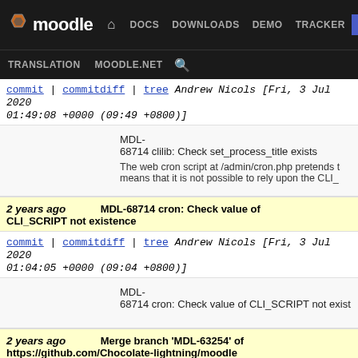Moodle | DOCS | DOWNLOADS | DEMO | TRACKER | DEV | TRANSLATION | MOODLE.NET
commit | commitdiff | tree   Andrew Nicols [Fri, 3 Jul 2020 01:49:08 +0000 (09:49 +0800)]
MDL-68714 clilib: Check set_process_title exists

The web cron script at /admin/cron.php pretends to means that it is not possible to rely upon the CLI_
2 years ago   MDL-68714 cron: Check value of CLI_SCRIPT not existence
commit | commitdiff | tree   Andrew Nicols [Fri, 3 Jul 2020 01:04:05 +0000 (09:04 +0800)]
MDL-68714 cron: Check value of CLI_SCRIPT not exist
2 years ago   Merge branch 'MDL-63254' of https://github.com/Chocolate-lightning/moodle
commit | commitdiff | tree   Jake Dallimore [Thu, 2 Jul 2020 04:22:17 +0000 (12:22 +0800)]